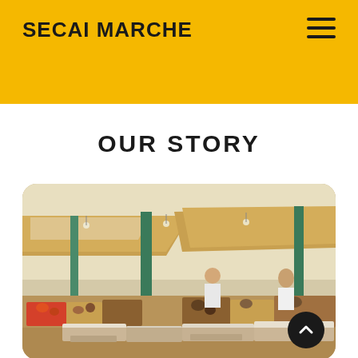SECAI MARCHE
OUR STORY
[Figure (photo): Outdoor market scene with vendors selling fresh fruits and vegetables under tan canopy awnings, with green metal poles and people browsing the stalls]